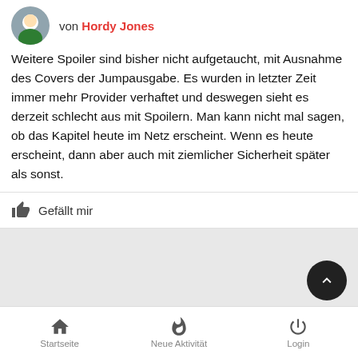von Hordy Jones
Weitere Spoiler sind bisher nicht aufgetaucht, mit Ausnahme des Covers der Jumpausgabe. Es wurden in letzter Zeit immer mehr Provider verhaftet und deswegen sieht es derzeit schlecht aus mit Spoilern. Man kann nicht mal sagen, ob das Kapitel heute im Netz erscheint. Wenn es heute erscheint, dann aber auch mit ziemlicher Sicherheit später als sonst.
Gefällt mir
von Gesponserte Inhalte
Fr 16 Aug - 7:11